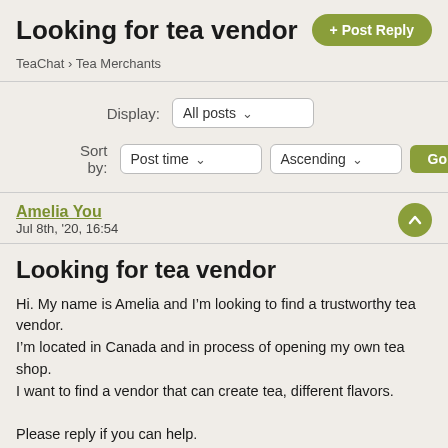Looking for tea vendor
+ Post Reply
TeaChat › Tea Merchants
Display: All posts ∨
Sort by: Post time ∨  Ascending ∨  Go
Amelia You
Jul 8th, '20, 16:54
Looking for tea vendor
Hi. My name is Amelia and I'm looking to find a trustworthy tea vendor.
I'm located in Canada and in process of opening my own tea shop.
I want to find a vendor that can create tea, different flavors.

Please reply if you can help.